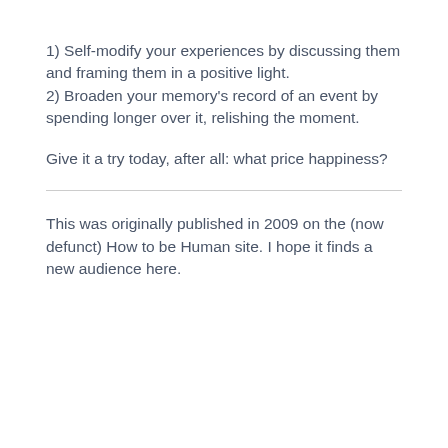1) Self-modify your experiences by discussing them and framing them in a positive light.
2) Broaden your memory’s record of an event by spending longer over it, relishing the moment.
Give it a try today, after all: what price happiness?
This was originally published in 2009 on the (now defunct) How to be Human site. I hope it finds a new audience here.